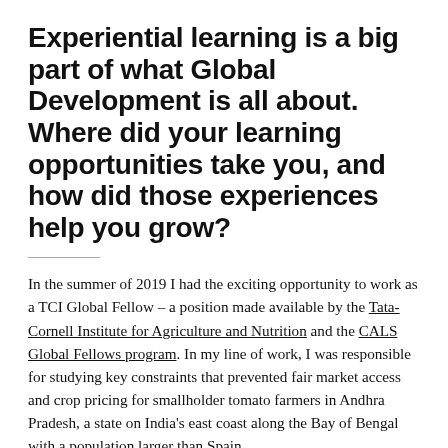Experiential learning is a big part of what Global Development is all about. Where did your learning opportunities take you, and how did those experiences help you grow?
In the summer of 2019 I had the exciting opportunity to work as a TCI Global Fellow – a position made available by the Tata-Cornell Institute for Agriculture and Nutrition and the CALS Global Fellows program. In my line of work, I was responsible for studying key constraints that prevented fair market access and crop pricing for smallholder tomato farmers in Andhra Pradesh, a state on India's east coast along the Bay of Bengal with a population larger than Spain.